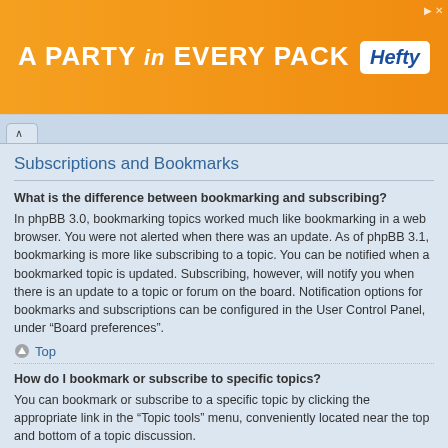[Figure (other): Orange advertisement banner reading 'A PARTY in EVERY PACK' with Hefty logo on white background on the right]
Subscriptions and Bookmarks
What is the difference between bookmarking and subscribing?
In phpBB 3.0, bookmarking topics worked much like bookmarking in a web browser. You were not alerted when there was an update. As of phpBB 3.1, bookmarking is more like subscribing to a topic. You can be notified when a bookmarked topic is updated. Subscribing, however, will notify you when there is an update to a topic or forum on the board. Notification options for bookmarks and subscriptions can be configured in the User Control Panel, under “Board preferences”.
Top
How do I bookmark or subscribe to specific topics?
You can bookmark or subscribe to a specific topic by clicking the appropriate link in the “Topic tools” menu, conveniently located near the top and bottom of a topic discussion.
Replying to a topic with the “Notify me when a reply is posted” option checked will also subscribe you to the topic.